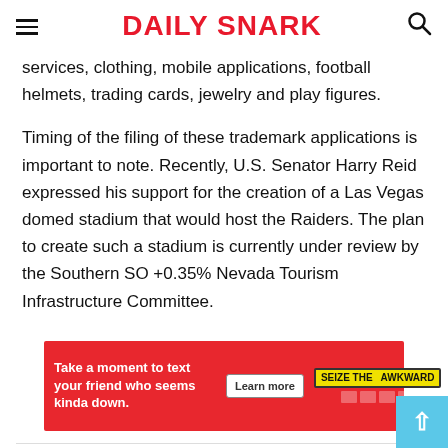Daily Snark
services, clothing, mobile applications, football helmets, trading cards, jewelry and play figures.
Timing of the filing of these trademark applications is important to note. Recently, U.S. Senator Harry Reid expressed his support for the creation of a Las Vegas domed stadium that would host the Raiders. The plan to create such a stadium is currently under review by the Southern SO +0.35% Nevada Tourism Infrastructure Committee.
[Figure (other): Advertisement banner: red background with text 'Take a moment to text your friend who seems kinda down.' with a 'Learn more' button and 'Seize the Awkward' badge with icons.]